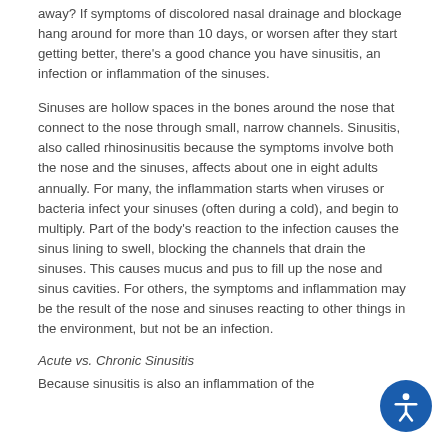away? If symptoms of discolored nasal drainage and blockage hang around for more than 10 days, or worsen after they start getting better, there's a good chance you have sinusitis, an infection or inflammation of the sinuses.
Sinuses are hollow spaces in the bones around the nose that connect to the nose through small, narrow channels. Sinusitis, also called rhinosinusitis because the symptoms involve both the nose and the sinuses, affects about one in eight adults annually. For many, the inflammation starts when viruses or bacteria infect your sinuses (often during a cold), and begin to multiply. Part of the body's reaction to the infection causes the sinus lining to swell, blocking the channels that drain the sinuses. This causes mucus and pus to fill up the nose and sinus cavities. For others, the symptoms and inflammation may be the result of the nose and sinuses reacting to other things in the environment, but not be an infection.
Acute vs. Chronic Sinusitis
Because sinusitis is also an inflammation of the